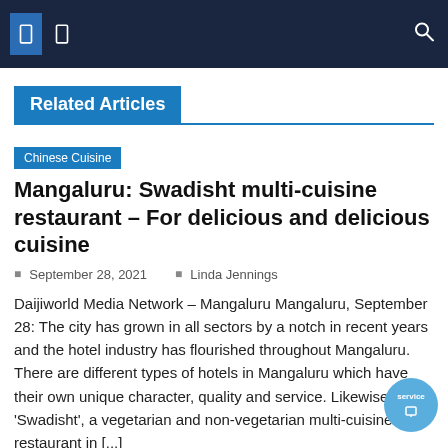Navigation bar with menu icons and search icon
Related Articles
Chinese Cuisine
Mangaluru: Swadisht multi-cuisine restaurant – For delicious and delicious cuisine
September 28, 2021   Linda Jennings
Daijiworld Media Network – Mangaluru Mangaluru, September 28: The city has grown in all sectors by a notch in recent years and the hotel industry has flourished throughout Mangaluru. There are different types of hotels in Mangaluru which have their own unique character, quality and service. Likewise, 'Swadisht', a vegetarian and non-vegetarian multi-cuisine restaurant in [...]